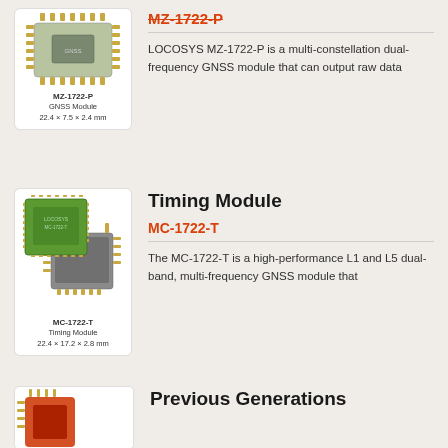[Figure (photo): MZ-1722-P GNSS Module product photo in white card. Label reads: MZ-1722-P GNSS Module 22.4 x 7.5 x 2.4 mm]
MZ-1722-P
LOCOSYS MZ-1722-P is a multi-constellation dual-frequency GNSS module that can output raw data
Timing Module
[Figure (photo): MC-1722-T Timing Module product photo in white card. Label reads: MC-1722-T Timing Module 22.4 x 17.2 x 2.8 mm]
MC-1722-T
The MC-1722-T is a high-performance L1 and L5 dual-band, multi-frequency GNSS module that
Previous Generations
[Figure (photo): Previous generation product partially visible at bottom]